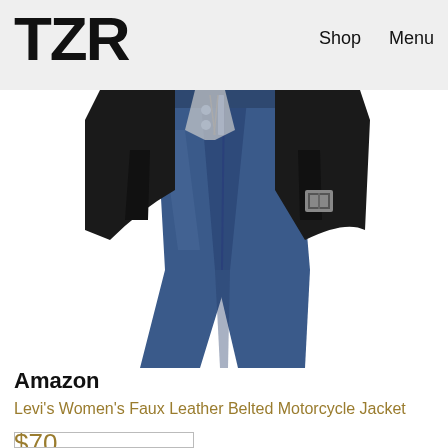TZR   Shop   Menu
[Figure (photo): Close-up photo of a person wearing dark blue jeans and a black faux leather belted motorcycle jacket with a buckle detail. The image shows the torso and upper legs area.]
Amazon
Levi's Women's Faux Leather Belted Motorcycle Jacket
$70